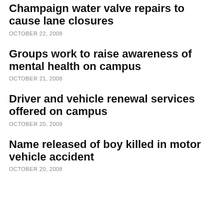Champaign water valve repairs to cause lane closures
OCTOBER 22, 2008
Groups work to raise awareness of mental health on campus
OCTOBER 21, 2008
Driver and vehicle renewal services offered on campus
OCTOBER 20, 2008
Name released of boy killed in motor vehicle accident
OCTOBER 20, 2008